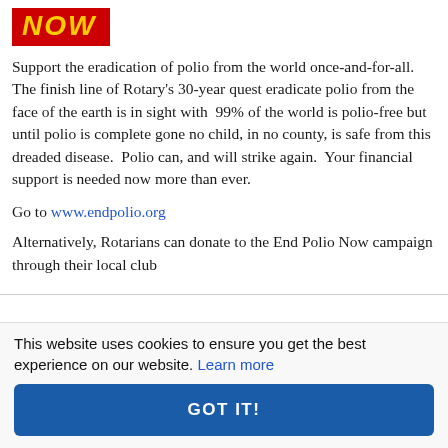[Figure (logo): Red banner with yellow bold italic text reading NOW]
Support the eradication of polio from the world once-and-for-all. The finish line of Rotary's 30-year quest eradicate polio from the face of the earth is in sight with 99% of the world is polio-free but until polio is complete gone no child, in no county, is safe from this dreaded disease. Polio can, and will strike again. Your financial support is needed now more than ever.
Go to www.endpolio.org
Alternatively, Rotarians can donate to the End Polio Now campaign through their local club
This website uses cookies to ensure you get the best experience on our website. Learn more
GOT IT!